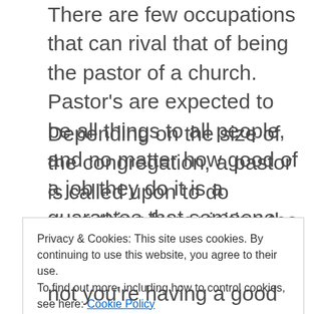There are few occupations that can rival that of being the pastor of a church. Pastor's are expected to be all things to all people, and no matter how good of a job they do it is a guarantee that someone will not be happy.
Depending on the size of the congregation, a pastor is called upon to do everything from visiting the sick and shut-ins to mowing the lawn and cleaning the restrooms. In very large congregations they also serve as a type of CEO, overseeing all
Privacy & Cookies: This site uses cookies. By continuing to use this website, you agree to their use.
To find out more, including how to control cookies, see here: Cookie Policy
not you're having a good day or a terrible day.